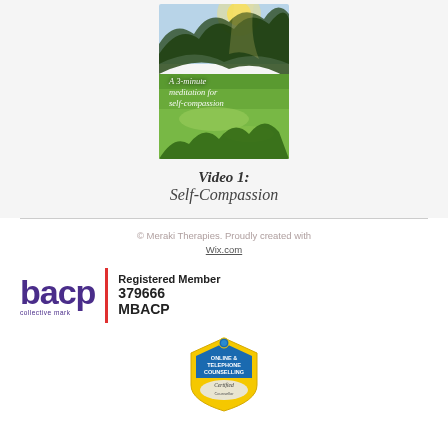[Figure (photo): Thumbnail image of a meditation video showing a green garden/park scene with trees and sunlight, with text overlay reading 'A 3-minute meditation for self-compassion']
Video 1:
Self-Compassion
© Meraki Therapies. Proudly created with Wix.com
[Figure (logo): BACP (British Association for Counselling and Psychotherapy) logo showing 'bacp' in purple, a red vertical divider, and text 'Registered Member 379666 MBACP' with 'collective mark' subtitle]
[Figure (logo): Online & Telephone Counselling certified counsellor badge - yellow and blue shield shape]